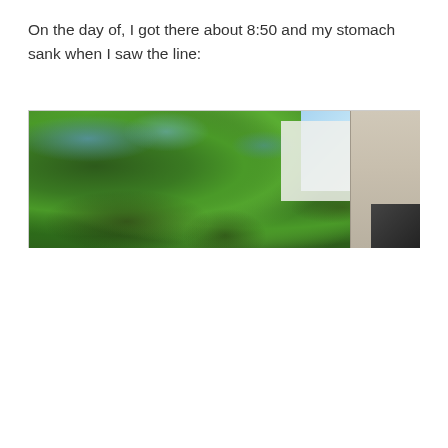On the day of, I got there about 8:50 and my stomach sank when I saw the line:
[Figure (photo): Outdoor photograph showing dense green tree foliage taking up most of the frame, with patches of blue sky visible through the leaves. On the right side, a building wall with a dark awning or window is partially visible.]